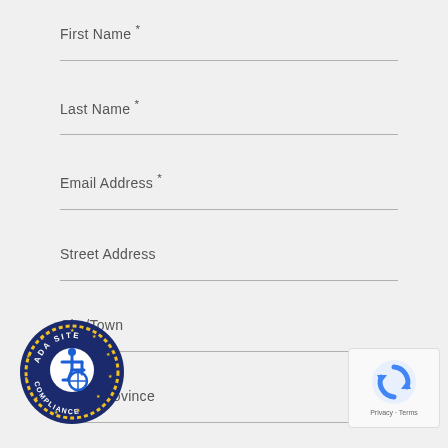First Name *
Last Name *
Email Address *
Street Address
City/Town
State/Province
Zip/Postal Code
[Figure (logo): ADA Site Compliance badge with wheelchair accessibility symbol]
[Figure (other): reCAPTCHA widget showing Privacy and Terms links]